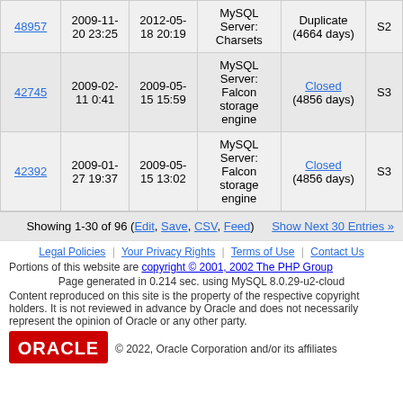| ID | Date Created | Date Modified | Category | Status | S |
| --- | --- | --- | --- | --- | --- |
| 48957 | 2009-11-20 23:25 | 2012-05-18 20:19 | MySQL Server: Charsets | Duplicate (4664 days) | S2 |
| 42745 | 2009-02-11 0:41 | 2009-05-15 15:59 | MySQL Server: Falcon storage engine | Closed (4856 days) | S3 |
| 42392 | 2009-01-27 19:37 | 2009-05-15 13:02 | MySQL Server: Falcon storage engine | Closed (4856 days) | S3 |
Showing 1-30 of 96 (Edit, Save, CSV, Feed)
Show Next 30 Entries »
Legal Policies | Your Privacy Rights | Terms of Use | Contact Us
Portions of this website are copyright © 2001, 2002 The PHP Group
Page generated in 0.214 sec. using MySQL 8.0.29-u2-cloud
Content reproduced on this site is the property of the respective copyright holders. It is not reviewed in advance by Oracle and does not necessarily represent the opinion of Oracle or any other party.
[Figure (logo): Oracle logo — red rectangle with white ORACLE text]
© 2022, Oracle Corporation and/or its affiliates